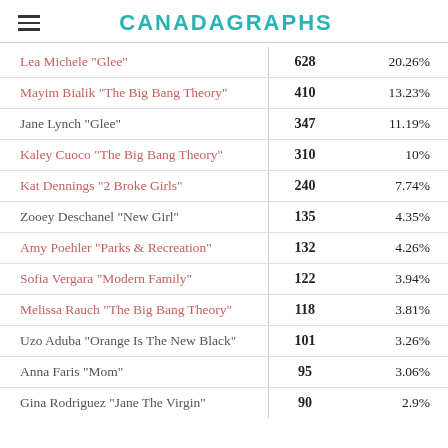CANADAGRAPHS
| Name | Votes | Percentage |
| --- | --- | --- |
| Lea Michele "Glee" | 628 | 20.26% |
| Mayim Bialik "The Big Bang Theory" | 410 | 13.23% |
| Jane Lynch "Glee" | 347 | 11.19% |
| Kaley Cuoco "The Big Bang Theory" | 310 | 10% |
| Kat Dennings "2 Broke Girls" | 240 | 7.74% |
| Zooey Deschanel "New Girl" | 135 | 4.35% |
| Amy Poehler "Parks & Recreation" | 132 | 4.26% |
| Sofia Vergara "Modern Family" | 122 | 3.94% |
| Melissa Rauch "The Big Bang Theory" | 118 | 3.81% |
| Uzo Aduba "Orange Is The New Black" | 101 | 3.26% |
| Anna Faris "Mom" | 95 | 3.06% |
| Gina Rodriguez "Jane The Virgin" | 90 | 2.9% |